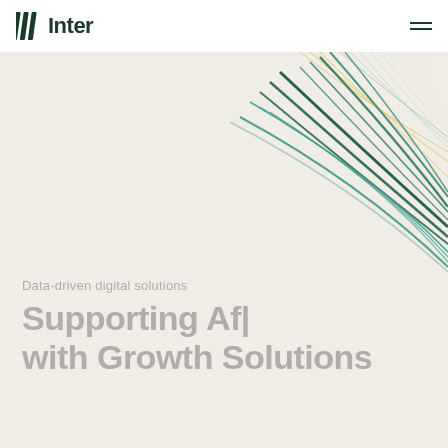Inter
[Figure (illustration): Abstract decorative graphic of flowing curved lines in green, teal, and yellow/gold colors, radiating from upper right corner, overlapping and converging toward right edge]
Data-driven digital solutions
Supporting Af| with Growth Solutions